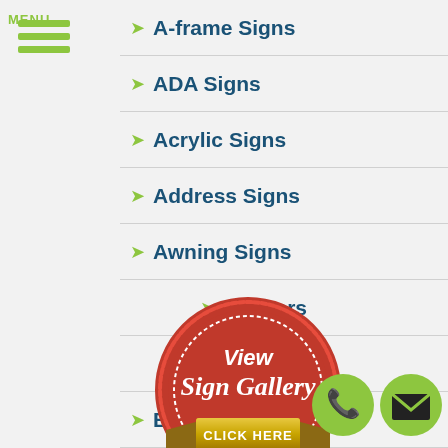[Figure (screenshot): Hamburger menu icon with three green horizontal lines and MENU label]
A-frame Signs
ADA Signs
Acrylic Signs
Address Signs
Awning Signs
Banners
...ade Signs
Boat Wraps
Building Signs
[Figure (illustration): Red stamp badge saying 'View Sign Gallery CLICK HERE']
[Figure (illustration): Green circle phone button]
[Figure (illustration): Green circle email/envelope button]